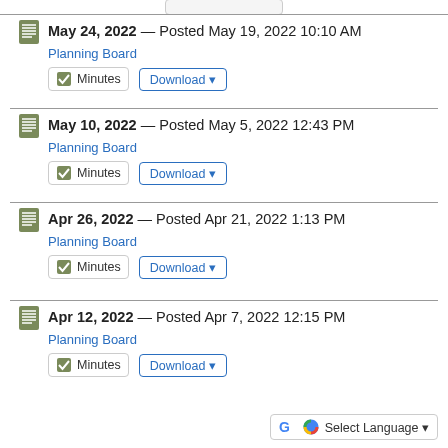May 24, 2022 — Posted May 19, 2022 10:10 AM
Planning Board
Minutes | Download
May 10, 2022 — Posted May 5, 2022 12:43 PM
Planning Board
Minutes | Download
Apr 26, 2022 — Posted Apr 21, 2022 1:13 PM
Planning Board
Minutes | Download
Apr 12, 2022 — Posted Apr 7, 2022 12:15 PM
Planning Board
Minutes | Download